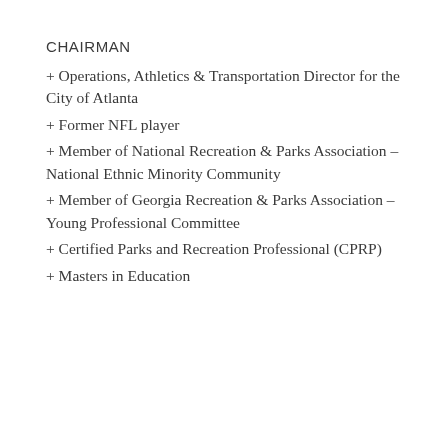CHAIRMAN
+ Operations, Athletics & Transportation Director for the City of Atlanta
+ Former NFL player
+ Member of National Recreation & Parks Association – National Ethnic Minority Community
+ Member of Georgia Recreation & Parks Association – Young Professional Committee
+ Certified Parks and Recreation Professional (CPRP)
+ Masters in Education